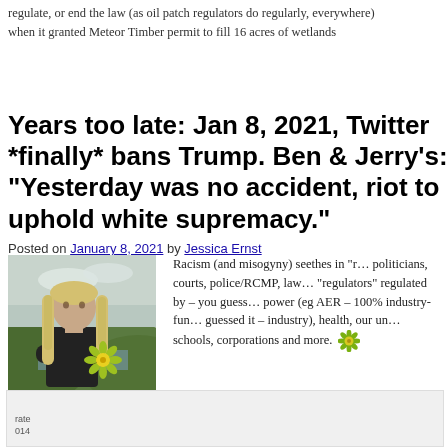regulate, or end the law (as oil patch regulators do regularly, everywhere) when it granted Meteor Timber permit to fill 16 acres of wetlands
Years too late: Jan 8, 2021, Twitter *finally* bans Trump. Ben & Jerry's: “Yesterday was no accident, riot to uphold white supremacy.”
Posted on January 8, 2021 by Jessica Ernst
[Figure (photo): Woman with long blonde hair wearing a black turtleneck, arms crossed, standing outdoors near water with green hills in background. Small daisy flower graphic overlay.]
Racism (and misogyny) seethes in “r…” politicians, courts, police/RCMP, law… “regulators” regulated by – you guess… power (eg AER – 100% industry-fun… guessed it – industry), health, our un… schools, corporations and more.
rate
014